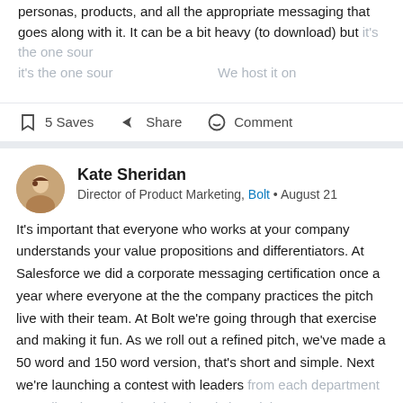personas, products, and all the appropriate messaging that goes along with it. It can be a bit heavy (to download) but it's the one sour… We host it on
Show More
5 Saves   Share   Comment
Kate Sheridan
Director of Product Marketing, Bolt • August 21
It's important that everyone who works at your company understands your value propositions and differentiators. At Salesforce we did a corporate messaging certification once a year where everyone at the the company practices the pitch live with their team. At Bolt we're going through that exercise and making it fun. As we roll out a refined pitch, we've made a 50 word and 150 word version, that's short and simple. Next we're launching a contest with leaders from each department recording themselves doing the pitch and then ta… to make
Show More